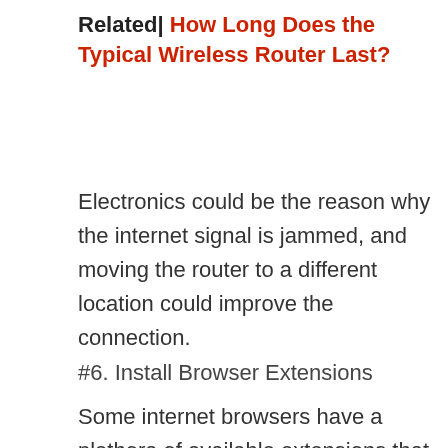Related| How Long Does the Typical Wireless Router Last?
Electronics could be the reason why the internet signal is jammed, and moving the router to a different location could improve the connection.
#6. Install Browser Extensions
Some internet browsers have a plethora of available extensions that can really improve one's browsing experience. One thing to note, though, is that you might